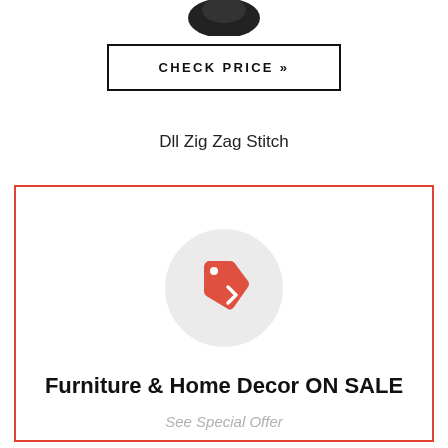[Figure (photo): Partial product image at top of page, partially cropped]
CHECK PRICE »
Dll Zig Zag Stitch
[Figure (illustration): Promotional box with red border containing a price tag icon inside a grey circle, bold title 'Furniture & Home Decor ON SALE', and subtitle 'See Special Offer']